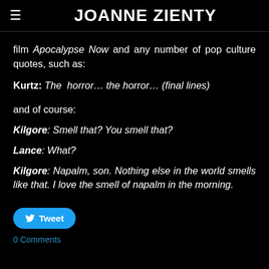JOANNE ZIENTY
film Apocalypse Now and any number of pop culture quotes, such as:
Kurtz: The horror… the horror… (final lines)
and of course:
Kilgore: Smell that? You smell that?
Lance: What?
Kilgore: Napalm, son. Nothing else in the world smells like that. I love the smell of napalm in the morning.
[Figure (other): Tweet button with Twitter bird icon]
0 Comments